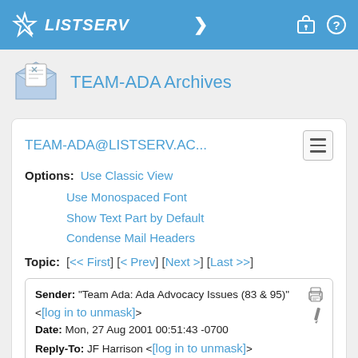LISTSERV
TEAM-ADA Archives
TEAM-ADA@LISTSERV.AC...
Options: Use Classic View
Use Monospaced Font
Show Text Part by Default
Condense Mail Headers
Topic: [<< First] [< Prev] [Next >] [Last >>]
| Field | Value |
| --- | --- |
| Sender: | "Team Ada: Ada Advocacy Issues (83 & 95)" <[log in to unmask]> |
| Date: | Mon, 27 Aug 2001 00:51:43 -0700 |
| Reply-To: | JF Harrison <[log in to unmask]> |
| Subject: | Re: Decline of Ada popularity (was Re: Proposal : For-Loop...) |
| MIME-Version: | 1.0 |